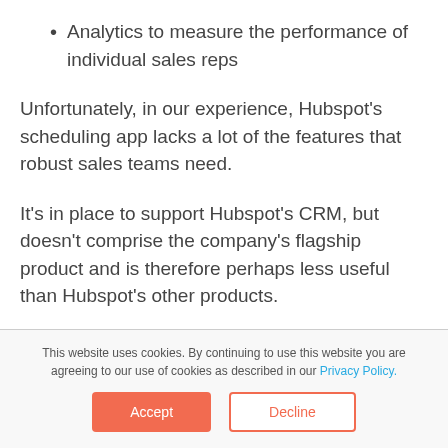Analytics to measure the performance of individual sales reps
Unfortunately, in our experience, Hubspot's scheduling app lacks a lot of the features that robust sales teams need.
It's in place to support Hubspot's CRM, but doesn't comprise the company's flagship product and is therefore perhaps less useful than Hubspot's other products.
This website uses cookies. By continuing to use this website you are agreeing to our use of cookies as described in our Privacy Policy.